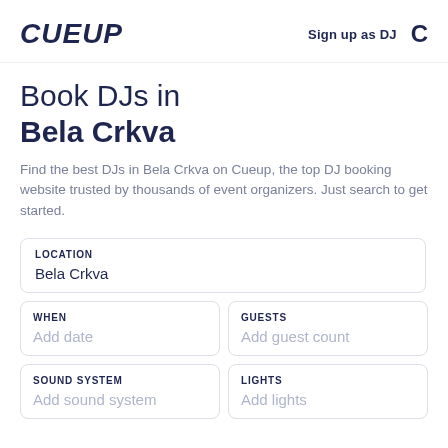CUEUP   Sign up as DJ
Book DJs in Bela Crkva
Find the best DJs in Bela Crkva on Cueup, the top DJ booking website trusted by thousands of event organizers. Just search to get started.
LOCATION
Bela Crkva
WHEN
Add date
GUESTS
Add guest count
SOUND SYSTEM
Add sound system
LIGHTS
Add lights